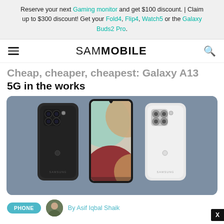Reserve your next Gaming monitor and get $100 discount. | Claim up to $300 discount! Get your Fold4, Flip4, Watch5 or the Galaxy Buds2 Pro.
[Figure (logo): SamMobile navigation bar with hamburger menu, SAM MOBILE logo, and search icon]
Cheap, cheaper, cheapest: Galaxy A13 5G in the works
[Figure (photo): Three Samsung Galaxy A12 phones — black back view, front view showing colorful abstract wallpaper, and white back view — displayed on a blue-grey background]
By Asif Iqbal Shaik